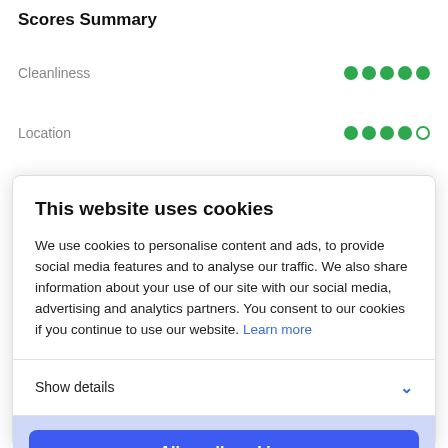Scores Summary
Cleanliness
Location
This website uses cookies
We use cookies to personalise content and ads, to provide social media features and to analyse our traffic. We also share information about your use of our site with our social media, advertising and analytics partners. You consent to our cookies if you continue to use our website. Learn more
Show details
Allow all cookies